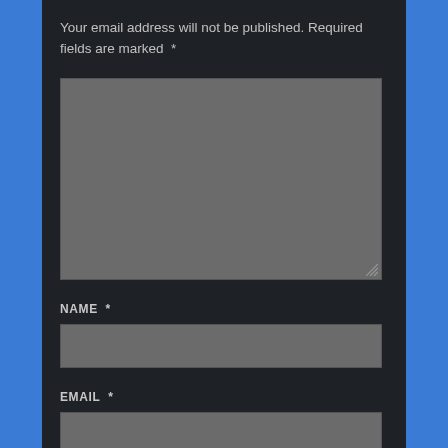Your email address will not be published. Required fields are marked *
[Figure (screenshot): Large grey textarea input box for comment entry]
NAME *
[Figure (screenshot): Single-line grey input box for name]
EMAIL *
[Figure (screenshot): Single-line grey input box for email (partially visible)]